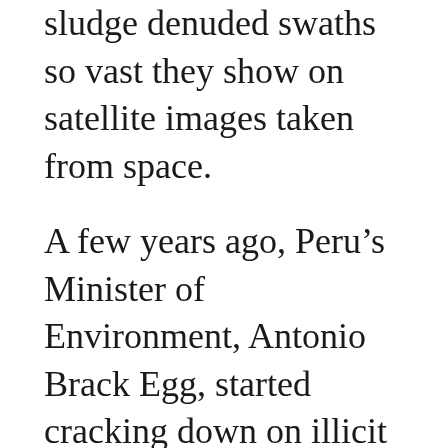sludge denuded swaths so vast they show on satellite images taken from space.
A few years ago, Peru's Minister of Environment, Antonio Brack Egg, started cracking down on illicit miners, sending in troops to destroy the equipment of any miner who couldn't show permits. In some